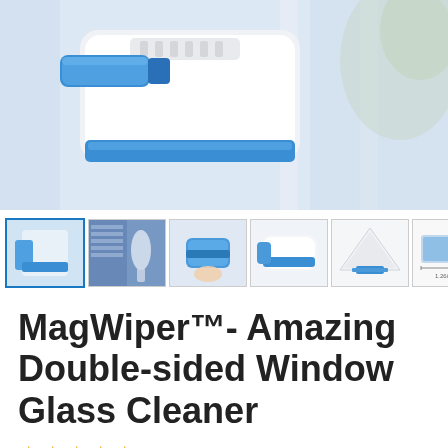[Figure (photo): Close-up photo of a MagWiper double-sided magnetic window cleaner device in white and blue color, held against a window frame]
[Figure (photo): Thumbnail strip showing 6 product images of the MagWiper window cleaner from different angles and in use]
MagWiper™- Amazing Double-sided Window Glass Cleaner
★★★★★ 32 reviews